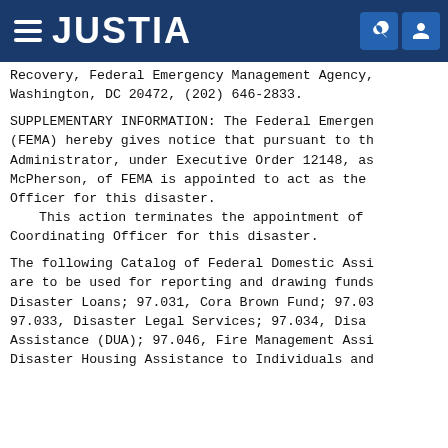JUSTIA
Recovery, Federal Emergency Management Agency, Washington, DC 20472, (202) 646-2833.
SUPPLEMENTARY INFORMATION: The Federal Emergency (FEMA) hereby gives notice that pursuant to the Administrator, under Executive Order 12148, as McPherson, of FEMA is appointed to act as the Officer for this disaster.
    This action terminates the appointment of Coordinating Officer for this disaster.
The following Catalog of Federal Domestic Assi are to be used for reporting and drawing funds Disaster Loans; 97.031, Cora Brown Fund; 97.03 97.033, Disaster Legal Services; 97.034, Disa Assistance (DUA); 97.046, Fire Management Assi Disaster Housing Assistance to Individuals and